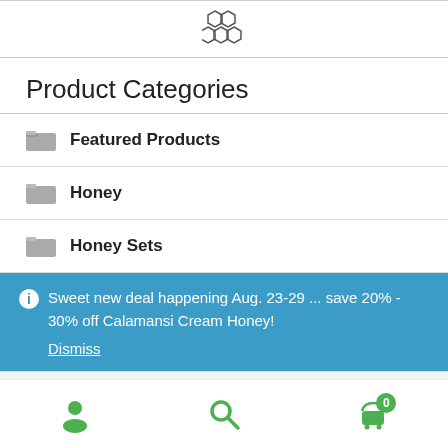honeycomb logo icon
Product Categories
Featured Products
Honey
Honey Sets
Sweet new deal happening Aug. 23-29 ... save 20% - 30% off Calamansi Cream Honey! Dismiss
Gift Baskets (partially visible)
user icon, search icon, cart (0)